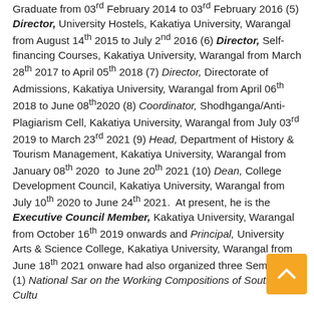Graduate from 03rd February 2014 to 03rd February 2016 (5) Director, University Hostels, Kakatiya University, Warangal from August 14th 2015 to July 2nd 2016 (6) Director, Self-financing Courses, Kakatiya University, Warangal from March 28th 2017 to April 05th 2018 (7) Director, Directorate of Admissions, Kakatiya University, Warangal from April 06th 2018 to June 08th 2020 (8) Coordinator, Shodhganga/Anti-Plagiarism Cell, Kakatiya University, Warangal from July 03rd 2019 to March 23rd 2021 (9) Head, Department of History & Tourism Management, Kakatiya University, Warangal from January 08th 2020 to June 20th 2021 (10) Dean, College Development Council, Kakatiya University, Warangal from July 10th 2020 to June 24th 2021. At present, he is the Executive Council Member, Kakatiya University, Warangal from October 16th 2019 onwards and Principal, University Arts & Science College, Kakatiya University, Warangal from June 18th 2021 onwards. He had also organized three Seminars (1) National Seminar on the Working Compositions of South Indian Culture...